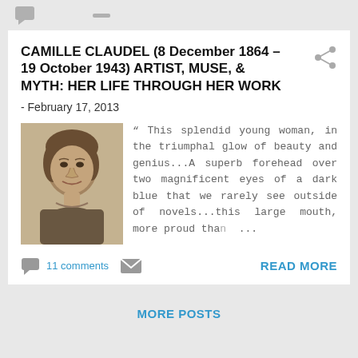CAMILLE CLAUDEL (8 December 1864 – 19 October 1943) ARTIST, MUSE, & MYTH: HER LIFE THROUGH HER WORK
- February 17, 2013
[Figure (photo): Black and white portrait photograph of Camille Claudel as a young woman with dark hair]
" This splendid young woman, in the triumphal glow of beauty and genius...A superb forehead over two magnificent eyes of a dark blue that we rarely see outside of novels...this large mouth, more proud tha... ...
11 comments
READ MORE
MORE POSTS